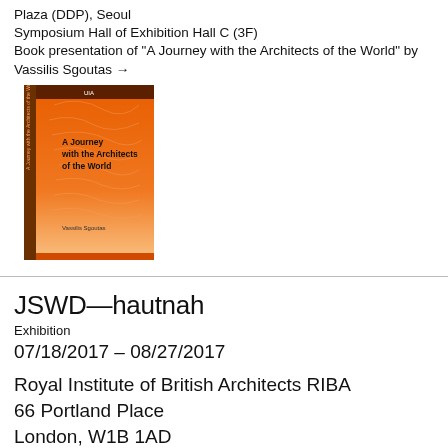Plaza (DDP), Seoul
Symposium Hall of Exhibition Hall C (3F)
Book presentation of "A Journey with the Architects of the World" by Vassilis Sgoutas →
[Figure (photo): Book cover of 'A Journey with the Architects of the World' by Vassilis Sgoutas — orange cover with world map outline and white text]
JSWD—hautnah
Exhibition
07/18/2017 – 08/27/2017
Royal Institute of British Architects RIBA
66 Portland Place
London, W1B 1AD
The exhibition shows projects by the Cologne architecture firm JSWD